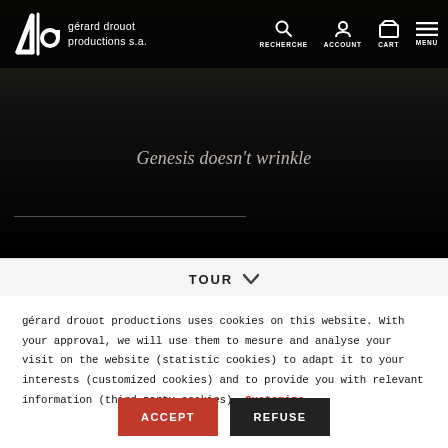[Figure (screenshot): gérard drouot productions website navigation bar with logo, RECHERCHE, ACCOUNT, CART, MENU icons on dark background]
Genesis doesn't wrinkle
TOUR
gérard drouot productions uses cookies on this website. With your approval, we will use them to mesure and analyse your visit on the website (statistic cookies) to adapt it to your interests (customized cookies) and to provide you with relevant information (third party cookies). Customize
ACCEPT
REFUSE